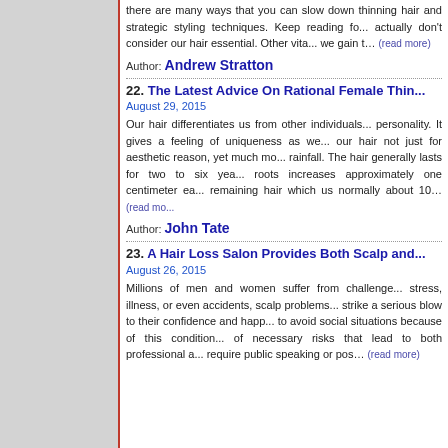...there are many ways that you can slow down thinning hair and strategic styling techniques. Keep reading fo... actually don't consider our hair essential. Other vita... we gain t... (read more)
Author: Andrew Stratton
22. The Latest Advice On Rational Female Thinning Hair
August 29, 2015
Our hair differentiates us from other individuals... personality. It gives a feeling of uniqueness as we... our hair not just for aesthetic reason, yet much mo... rainfall. The hair generally lasts for two to six yea... roots increases approximately one centimeter ea... remaining hair which us normally about 10... (read more)
Author: John Tate
23. A Hair Loss Salon Provides Both Scalp and...
August 26, 2015
Millions of men and women suffer from challenge... stress, illness, or even accidents, scalp problems... strike a serious blow to their confidence and happ... to avoid social situations because of this condition... of necessary risks that lead to both professional a... require public speaking or pos... (read more)